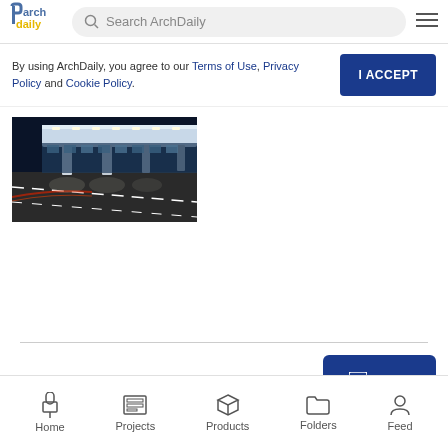Search ArchDaily
By using ArchDaily, you agree to our Terms of Use, Privacy Policy and Cookie Policy.
[Figure (photo): Night-time photo of an airport or transit terminal exterior with white canopy columns, illuminated ceiling, road with lane markings, and cars with light trails]
Home | Projects | Products | Folders | Feed